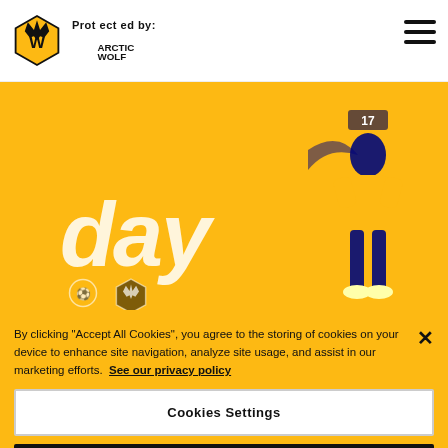Protected by: Arctic Wolf
[Figure (screenshot): Wolverhampton Wanderers website screenshot showing a yellow promotional banner with match information against Tottenham, a player in number 17 kit, club badges for Spurs and Wolves, and text reading 'day' in large italic white letters. Below the banner is a section header reading MEN'S FIRST-TEAM.]
By clicking "Accept All Cookies", you agree to the storing of cookies on your device to enhance site navigation, analyze site usage, and assist in our marketing efforts. See our privacy policy
Cookies Settings
Reject All
Accept All Cookies